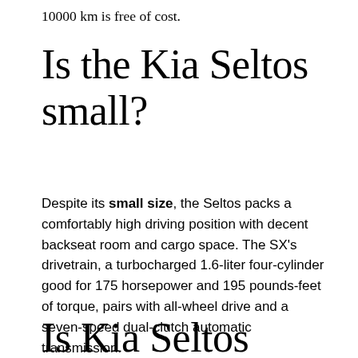10000 km is free of cost.
Is the Kia Seltos small?
Despite its small size, the Seltos packs a comfortably high driving position with decent backseat room and cargo space. The SX's drivetrain, a turbocharged 1.6-liter four-cylinder good for 175 horsepower and 195 pounds-feet of torque, pairs with all-wheel drive and a seven-speed dual-clutch automatic transmission.
Is Kia Seltos body